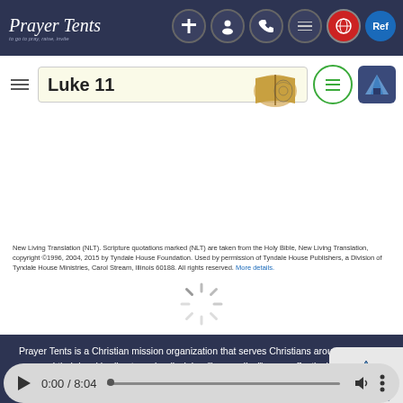Prayer Tents
Luke 11
New Living Translation (NLT). Scripture quotations marked (NLT) are taken from the Holy Bible, New Living Translation, copyright ©1996, 2004, 2015 by Tyndale House Foundation. Used by permission of Tyndale House Publishers, a Division of Tyndale House Ministries, Carol Stream, Illinois 60188. All rights reserved. More details.
[Figure (other): Loading spinner animation]
Prayer Tents is a Christian mission organization that serves Christians around the world and their local bodies to make disciples ("evangelize") more effectively in their communities. Prayer Tents provides resources to enable Christians to form discipleship-focused small groups and make their gatherings known so that other "interested" people may participate and experience Christ in their midst. Our Vision is to make disciples in nations through the local churches so that anyone seeking God can come to know
[Figure (other): Audio player bar showing 0:00 / 8:04]